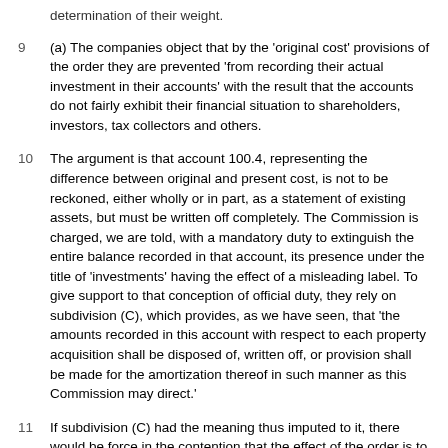determination of their weight.
9   (a) The companies object that by the 'original cost' provisions of the order they are prevented 'from recording their actual investment in their accounts' with the result that the accounts do not fairly exhibit their financial situation to shareholders, investors, tax collectors and others.
10   The argument is that account 100.4, representing the difference between original and present cost, is not to be reckoned, either wholly or in part, as a statement of existing assets, but must be written off completely. The Commission is charged, we are told, with a mandatory duty to extinguish the entire balance recorded in that account, its presence under the title of 'investments' having the effect of a misleading label. To give support to that conception of official duty, they rely on subdivision (C), which provides, as we have seen, that 'the amounts recorded in this account with respect to each property acquisition shall be disposed of, written off, or provision shall be made for the amortization thereof in such manner as this Commission may direct.'
11   If subdivision (C) had the meaning thus imputed to it, there would be force in the contention that the effect of the order is to distort in an